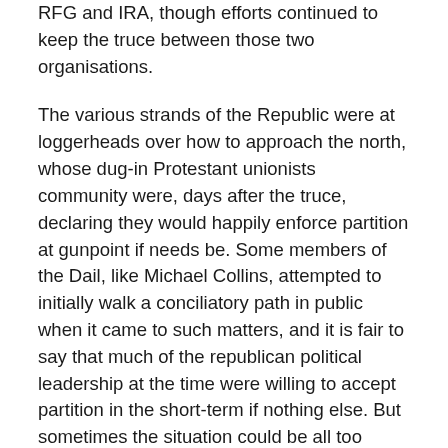RFG and IRA, though efforts continued to keep the truce between those two organisations.
The various strands of the Republic were at loggerheads over how to approach the north, whose dug-in Protestant unionists community were, days after the truce, declaring they would happily enforce partition at gunpoint if needs be. Some members of the Dail, like Michael Collins, attempted to initially walk a conciliatory path in public when it came to such matters, and it is fair to say that much of the republican political leadership at the time were willing to accept partition in the short-term if nothing else. But sometimes the situation could be all too easily inflamed: when, at a rally in Armagh in September, Eoin O'Duffy threatened “to use the lead on them” in reference to unionists, he was removed from his position of northern liaison officer (he would later suggest, to the distaste of